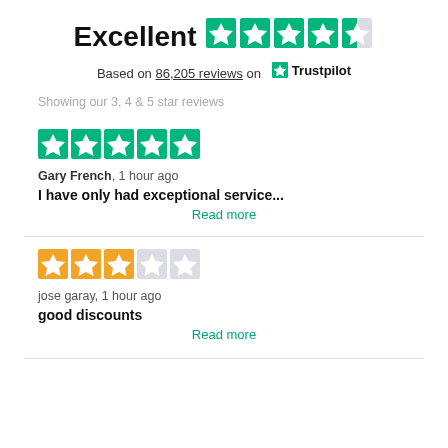Excellent — 4.5 stars on Trustpilot
Based on 86,205 reviews on Trustpilot
Showing our 3, 4 & 5 star reviews
[Figure (other): 5 green stars rating for Gary French review]
Gary French, 1 hour ago
I have only had exceptional service...
Read more
[Figure (other): 3 yellow stars and 2 gray stars rating for jose garay review]
jose garay, 1 hour ago
good discounts
Read more